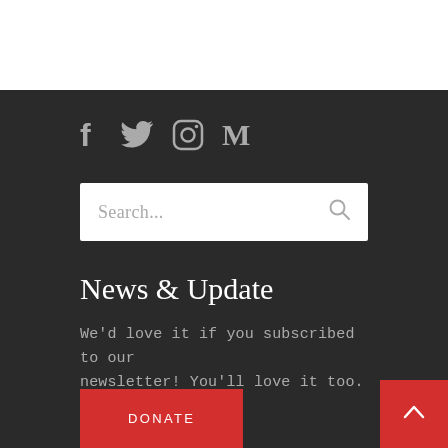[Figure (other): Social media icons: Facebook (f), Twitter (bird), Instagram (camera), Medium (M) in gray on dark background]
[Figure (other): Search bar with placeholder text 'Search...' and a search magnifier icon on the right]
News & Update
We'd love it if you subscribed to our newsletter! You'll love it too.
[Figure (other): Red DONATE button at bottom left]
[Figure (other): Red scroll-to-top button with upward chevron arrow at bottom right]